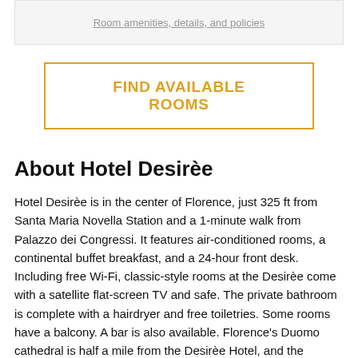Room amenities, details, and policies
FIND AVAILABLE ROOMS
About Hotel Desirèe
Hotel Desirèe is in the center of Florence, just 325 ft from Santa Maria Novella Station and a 1-minute walk from Palazzo dei Congressi. It features air-conditioned rooms, a continental buffet breakfast, and a 24-hour front desk. Including free Wi-Fi, classic-style rooms at the Desirèe come with a satellite flat-screen TV and safe. The private bathroom is complete with a hairdryer and free toiletries. Some rooms have a balcony. A bar is also available. Florence's Duomo cathedral is half a mile from the Desirèe Hotel, and the Fortezza da Basso exhibition